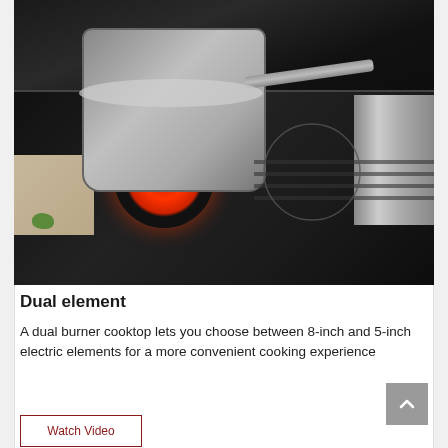[Figure (photo): A stainless steel pot with orange/yellow contents (likely soup or stew) sitting on a black glass electric cooktop with a glowing red dual burner element visible beneath the pot. A wooden cutting board and green herbs are visible on the left side.]
Dual element
A dual burner cooktop lets you choose between 8-inch and 5-inch electric elements for a more convenient cooking experience
Watch Video